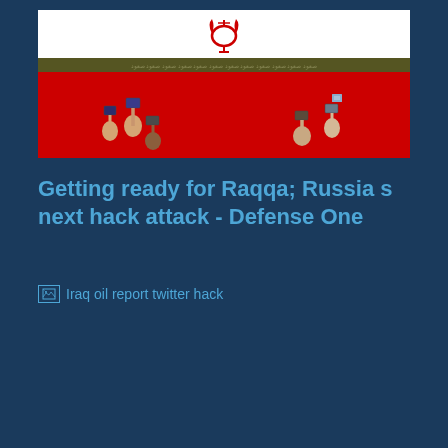[Figure (photo): Composite image: Iranian flag with the red tulip emblem on white background, a decorative Arabic script stripe, and below it a red background with five people lying on their backs holding tablets/devices up toward the camera]
Getting ready for Raqqa; Russia s next hack attack - Defense One
[Figure (other): Broken image placeholder with alt text: Iraq oil report twitter hack]